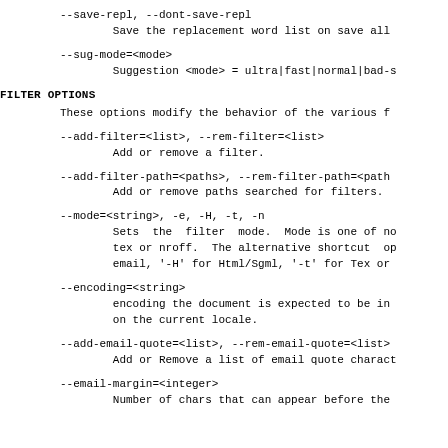--save-repl, --dont-save-repl
        Save the replacement word list on save all
--sug-mode=<mode>
        Suggestion <mode> = ultra|fast|normal|bad-s
FILTER OPTIONS
These options modify the behavior of the various f
--add-filter=<list>, --rem-filter=<list>
        Add or remove a filter.
--add-filter-path=<paths>, --rem-filter-path=<path
        Add or remove paths searched for filters.
--mode=<string>, -e, -H, -t, -n
        Sets the filter mode.  Mode is one of no
        tex or nroff.  The alternative shortcut op
        email, '-H' for Html/Sgml, '-t' for Tex or
--encoding=<string>
        encoding the document is expected to be in
        on the current locale.
--add-email-quote=<list>, --rem-email-quote=<list>
        Add or Remove a list of email quote charact
--email-margin=<integer>
        Number of chars that can appear before the